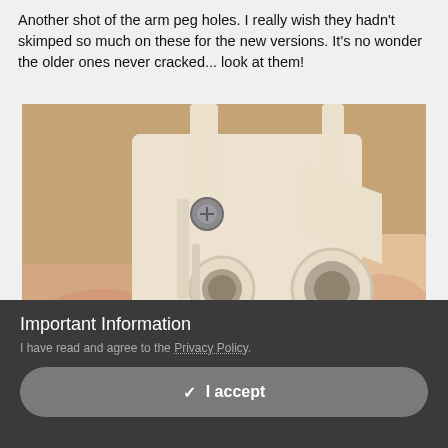Another shot of the arm peg holes. I really wish they hadn't skimped so much on these for the new versions. It's no wonder the older ones never cracked... look at them!
[Figure (photo): Close-up photograph of white plastic arm peg holes/joints being held by a hand, showing two circular holes in a mechanical plastic component, with a metal screw visible. Photographed on a wooden surface background.]
Important Information
I have read and agree to the Privacy Policy.
✓  I accept